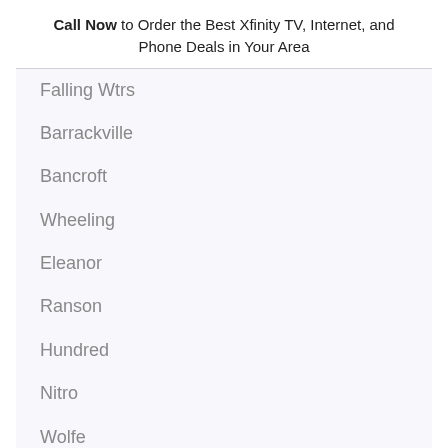Call Now to Order the Best Xfinity TV, Internet, and Phone Deals in Your Area
Falling Wtrs
Barrackville
Bancroft
Wheeling
Eleanor
Ranson
Hundred
Nitro
Wolfe
Summit Point
Montana Mines